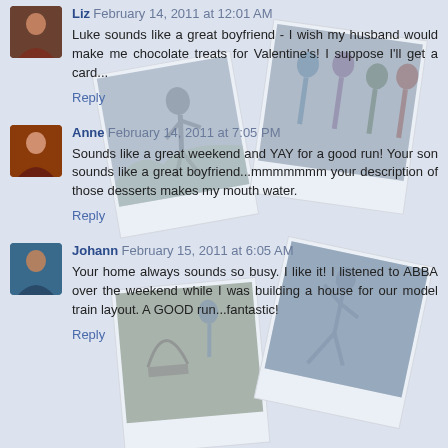[Figure (photo): Background collage of polaroid-style photos of runners and groups, overlaid behind the comment section]
Liz February 14, 2011 at 12:01 AM
Luke sounds like a great boyfriend - I wish my husband would make me chocolate treats for Valentine's! I suppose I'll get a card...
Reply
Anne February 14, 2011 at 7:05 PM
Sounds like a great weekend and YAY for a good run! Your son sounds like a great boyfriend...mmmmmmm your description of those desserts makes my mouth water.
Reply
Johann February 15, 2011 at 6:05 AM
Your home always sounds so busy. I like it! I listened to ABBA over the weekend while I was building a house for our model train layout. A GOOD run...fantastic!
Reply